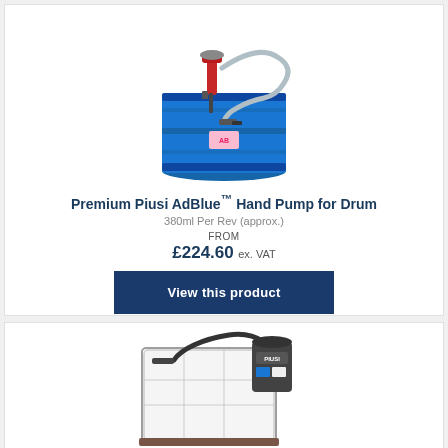[Figure (photo): Premium Piusi AdBlue hand pump attached to a blue drum barrel with hose and nozzle]
Premium Piusi AdBlue™ Hand Pump for Drum
380ml Per Rev (approx.)
FROM £224.60 ex. VAT
View this product
[Figure (photo): Piusi branded electric pump unit mounted on a white IBC container with hose and display panel]